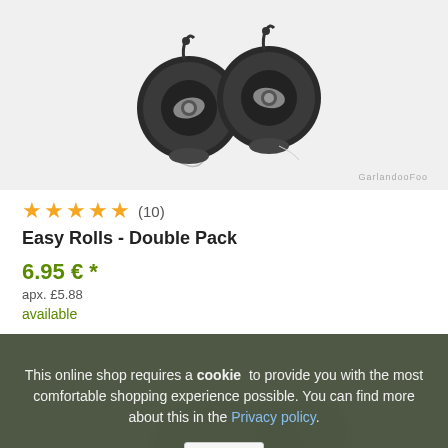[Figure (photo): Two black Easy Roll fishing tackle spools/bobbins with metal clip details on a light grey background. Watermark text 'GarlandooFoo' visible at bottom right.]
★★★★★ (10)
Easy Rolls - Double Pack
6.95 € *
apx. £5.88
available
This online shop requires a cookie to provide you with the most comfortable shopping experience possible. You can find more about this in the Privacy policy.
OK